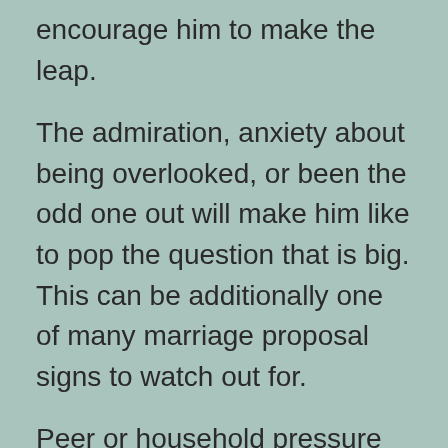encourage him to make the leap.
The admiration, anxiety about being overlooked, or been the odd one out will make him like to pop the question that is big. This can be additionally one of many marriage proposal signs to watch out for.
Peer or household pressure isn't the most reason that is pleasant need to get married, however it is among the signs heâs planning to propose.
9. You stumbled on a ring